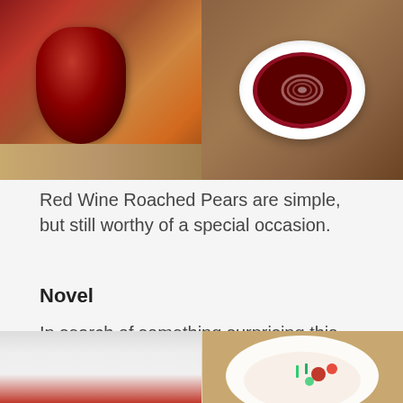[Figure (photo): Two food photos side by side: left shows a red wine poached pear on a cutting board, right shows a white bowl with sliced poached pear in red wine syrup on a wooden surface.]
Red Wine Roached Pears are simple, but still worthy of a special occasion.
Novel
In search of something surprising this year? We guarantee your guests are not expecting you to serve a fruity take on Italian minestrone soup. Like that versatile vegetable potage, our sweet spin can be adapted to seasonal or locally available produce. And dang, is it pretty.
[Figure (photo): Two food photos side by side at bottom: left shows a white bowl and red background, right shows a white bowl with colorful fruit and vegetables on a wooden surface.]